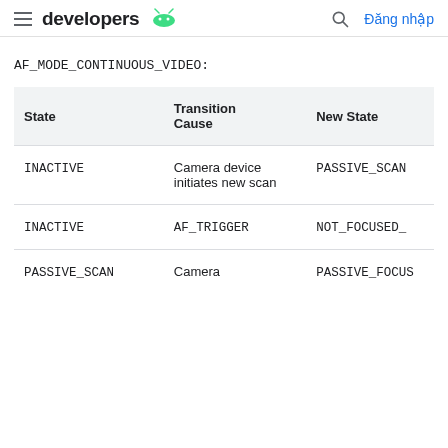developers  Đăng nhập
AF_MODE_CONTINUOUS_VIDEO:
| State | Transition Cause | New State |
| --- | --- | --- |
| INACTIVE | Camera device initiates new scan | PASSIVE_SCAN |
| INACTIVE | AF_TRIGGER | NOT_FOCUSED_ |
| PASSIVE_SCAN | Camera | PASSIVE_FOCUS |